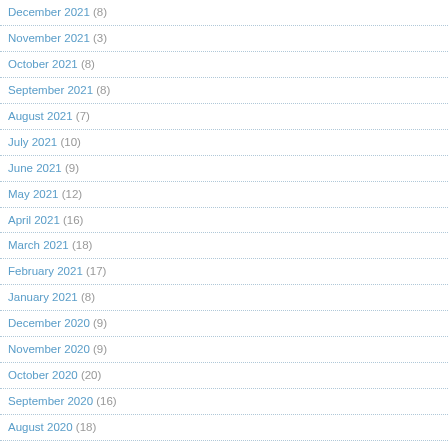December 2021 (8)
November 2021 (3)
October 2021 (8)
September 2021 (8)
August 2021 (7)
July 2021 (10)
June 2021 (9)
May 2021 (12)
April 2021 (16)
March 2021 (18)
February 2021 (17)
January 2021 (8)
December 2020 (9)
November 2020 (9)
October 2020 (20)
September 2020 (16)
August 2020 (18)
July 2020 (13)
June 2020 (9)
May 2020 (12)